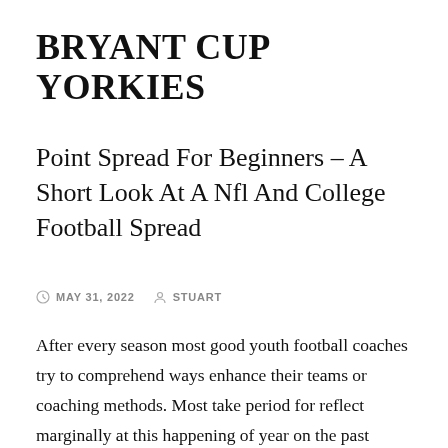BRYANT CUP YORKIES
Point Spread For Beginners – A Short Look At A Nfl And College Football Spread
MAY 31, 2022   STUART
After every season most good youth football coaches try to comprehend ways enhance their teams or coaching methods. Most take period for reflect marginally at this happening of year on the past season.